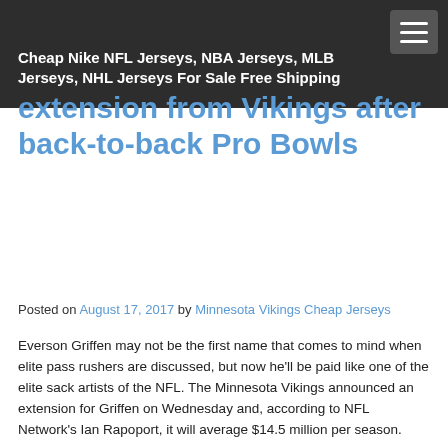Cheap Nike NFL Jerseys, NBA Jerseys, MLB Jerseys, NHL Jerseys For Sale Free Shipping
extension from Vikings after back-to-back Pro Bowls
Posted on August 17, 2017 by Minnesota Vikings Cheap Jerseys
Everson Griffen may not be the first name that comes to mind when elite pass rushers are discussed, but now he'll be paid like one of the elite sack artists of the NFL. The Minnesota Vikings announced an extension for Griffen on Wednesday and, according to NFL Network's Ian Rapoport, it will average $14.5 million per season.
Rapoport says it's a four-year, $58 million extension for Griffen with $34 million in guarantees. The veteran defensive end was under contract through the 2018 season, so the extension will now keep